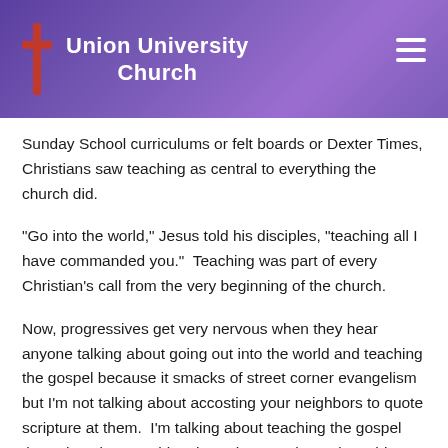Union University Church
Sunday School curriculums or felt boards or Dexter Times, Christians saw teaching as central to everything the church did.
“Go into the world,” Jesus told his disciples, “teaching all I have commanded you.”  Teaching was part of every Christian’s call from the very beginning of the church.
Now, progressives get very nervous when they hear anyone talking about going out into the world and teaching the gospel because it smacks of street corner evangelism but I’m not talking about accosting your neighbors to quote scripture at them.  I’m talking about teaching the gospel through action, teaching through example, and teaching through persistent compassion for others.  In order for the gospel to be taught, the first thing that has to happen is